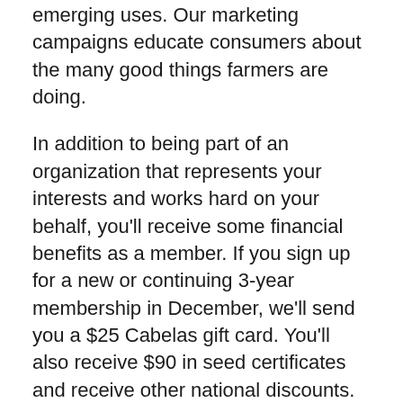emerging uses. Our marketing campaigns educate consumers about the many good things farmers are doing.
In addition to being part of an organization that represents your interests and works hard on your behalf, you'll receive some financial benefits as a member. If you sign up for a new or continuing 3-year membership in December, we'll send you a $25 Cabelas gift card. You'll also receive $90 in seed certificates and receive other national discounts.
To join or learn more about membership benefits, call our office at 605-334-0100 or go to our website at www.sdcorn.org.
Also, be sure to join us at our 34th Annual Conference on January 18 at the Sioux Falls Convention Center. Market- to Market host Bob and he will also host the